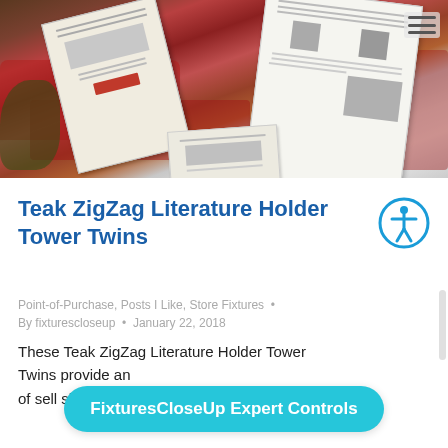[Figure (photo): Photo of a hotel/showroom lounge with red sofas and two teak zigzag literature holder towers displaying sell sheets and documents on a coffee table, viewed from above at an angle.]
Teak ZigZag Literature Holder Tower Twins
Point-of-Purchase, Posts I Like, Store Fixtures •
By fixturescloseup • January 22, 2018
These Teak ZigZag Literature Holder Tower Twins provide an [obscured] of sell sheets a[obscured]
FixturesCloseUp Expert Controls